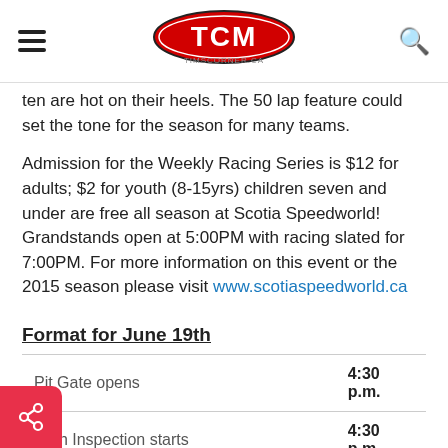TCM - TIMSCORNER.CA
...where six points separate the top five and the top ten are hot on their heels. The 50 lap feature could set the tone for the season for many teams.
Admission for the Weekly Racing Series is $12 for adults; $2 for youth (8-15yrs) children seven and under are free all season at Scotia Speedworld! Grandstands open at 5:00PM with racing slated for 7:00PM. For more information on this event or the 2015 season please visit www.scotiaspeedworld.ca
Format for June 19th
| Event | Time |
| --- | --- |
| Pit Gate opens | 4:30 p.m. |
| Tech Inspection starts | 4:30 p.m. |
| Practice starts (BN, LG, SP) 5 min sessions | 5:00 p.m. |